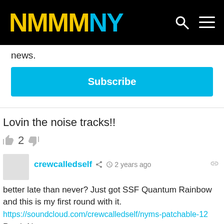NMMNY
news.
Subscribe
Lovin the noise tracks!!
👍 2 👎
crewcalledself  2 years ago
better late than never? Just got SSF Quantum Rainbow and this is my first round with it.
https://soundcloud.com/crewcalledself/nyms-patchable-12
Patch Notes:
// ... from SSF Quantum Rainbow into 2 x VCA ...